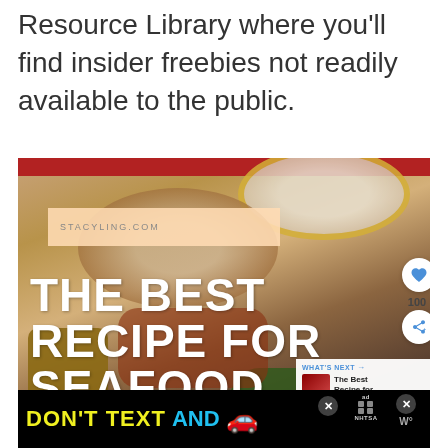Resource Library where you'll find insider freebies not readily available to the public.
[Figure (photo): Food photo showing a seafood dish on a decorative plate with gold rim, with text overlay reading 'THE BEST RECIPE FOR SEAFOOD' and a stacyling.com banner. Social media engagement buttons (heart, share) and a 'What's Next' panel are visible on the right side. An advertisement banner for 'DON'T TEXT AND [car emoji]' with NHTSA branding appears at the bottom.]